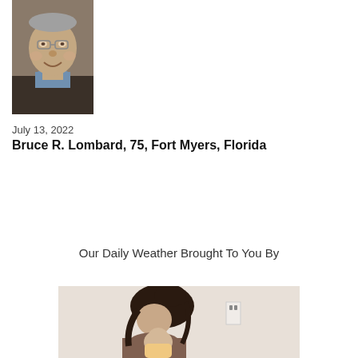[Figure (photo): Close-up photo of an elderly man smiling, wearing a blue shirt and dark jacket]
July 13, 2022
Bruce R. Lombard, 75, Fort Myers, Florida
Our Daily Weather Brought To You By
[Figure (photo): Photo of a woman with dark hair looking down at a baby or young child]